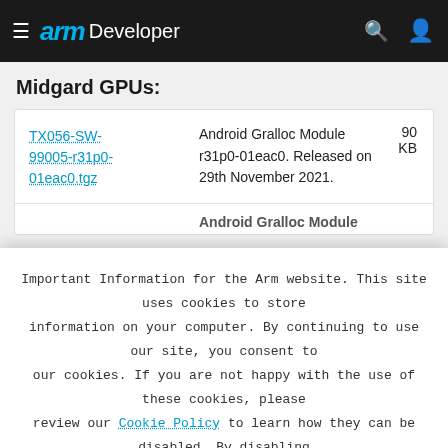≡ arm Developer
Midgard GPUs:
| File | Description | Size |
| --- | --- | --- |
| TX056-SW-99005-r31p0-01eac0.tgz | Android Gralloc Module r31p0-01eac0. Released on 29th November 2021. | 90 KB |
| Android Gralloc Module |  |  |
Important Information for the Arm website. This site uses cookies to store information on your computer. By continuing to use our site, you consent to our cookies. If you are not happy with the use of these cookies, please review our Cookie Policy to learn how they can be disabled. By disabling cookies, some features of the site will not work.
Accept and hide this message ✕
TX041-SW-  Android Gralloc Module